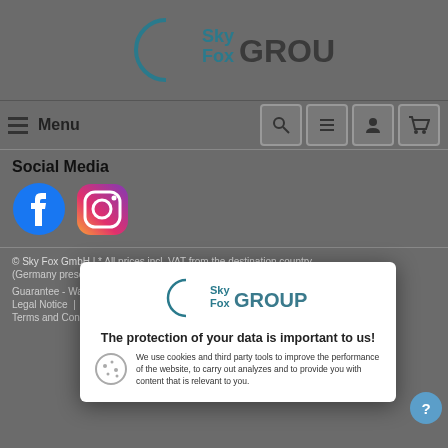[Figure (logo): Sky Fox GROUP logo with crescent moon shape]
Menu
Social Media
[Figure (illustration): Facebook and Instagram social media icons]
© Sky Fox GmbH | * All prices incl. VAT from the destination country
(Germany presed) plus shipping costs
Guarantee - Warranty | Return of goods | Dealer Login |
Legal Notice | Contact | Revocation |
Terms and Conditions (Merchants) | Payment | Cookie settings
[Figure (screenshot): Sky Fox GROUP logo shown inside cookie consent modal popup]
The protection of your data is important to us!
We use cookies and third party tools to improve the performance of the website, to carry out analyzes and to provide you with content that is relevant to you.